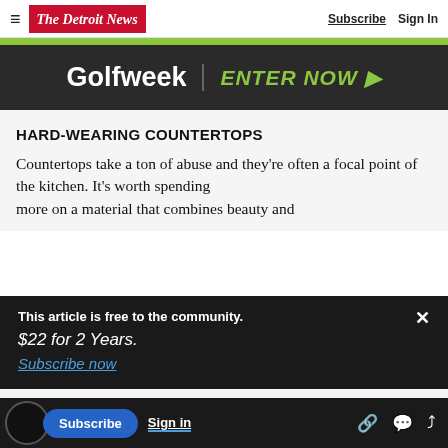The Detroit News — Subscribe | Sign In
[Figure (infographic): Golfweek advertisement banner with dark background, Golfweek logo in white, vertical divider, and 'ENTER NOW ►' in yellow-green text]
HARD-WEARING COUNTERTOPS
Countertops take a ton of abuse and they're often a focal point of the kitchen. It's worth spending more on a material that combines beauty and...
This article is free to the community.
$22 for 2 Years.
Subscribe now
material because it looks great and wears
sealing that many other natural stones need.